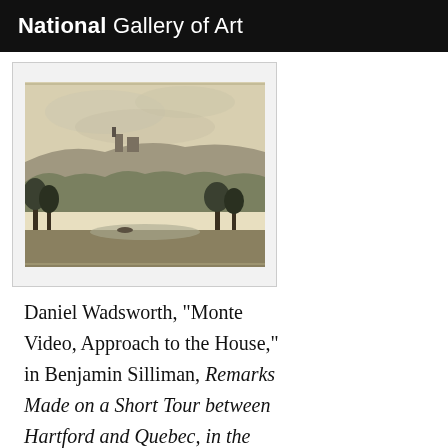National Gallery of Art
[Figure (illustration): A landscape etching/engraving showing Monte Video house approach with trees in foreground, buildings on hill, and cloudy sky. Mounted on cream/aged paper with border.]
Daniel Wadsworth, "Monte Video, Approach to the House," in Benjamin Silliman, Remarks Made on a Short Tour between Hartford and Quebec, in the Autumn of 1819 (1824), pl. opp. p. 16